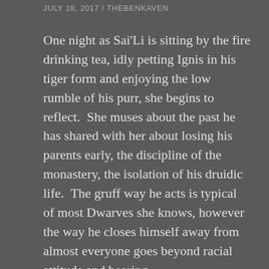JULY 18, 2017 / THEBENKAVEN
One night as Sai'Li is sitting by the fire drinking tea, idly petting Ignis in his tiger form and enjoying the low rumble of his purr, she begins to reflect.  She muses about the past he has shared with her about losing his parents early, the discipline of the monastery, the isolation of his druidic life.  The gruff way he acts is typical of most Dwarves she knows, however the way he closes himself away from almost everyone goes beyond racial attitude and bearing.
She has seen this body language before, although it is usually from folk hardened from birth by the rigors of unkind training in her Lord Father's rigorous guard training.  His methods of starting with very young children is effective, but certainly weeds out empathy